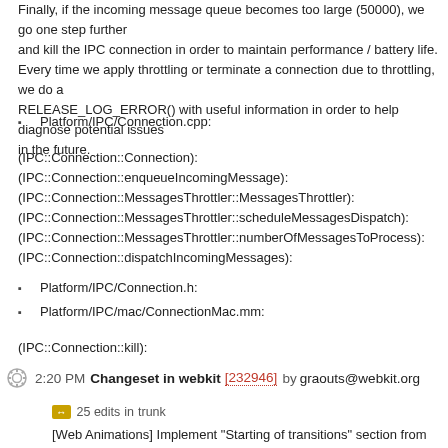Finally, if the incoming message queue becomes too large (50000), we go one step further and kill the IPC connection in order to maintain performance / battery life. Every time we apply throttling or terminate a connection due to throttling, we do a RELEASE_LOG_ERROR() with useful information in order to help diagnose potential issues in the future.
Platform/IPC/Connection.cpp:
(IPC::Connection::Connection):
(IPC::Connection::enqueueIncomingMessage):
(IPC::Connection::MessagesThrottler::MessagesThrottler):
(IPC::Connection::MessagesThrottler::scheduleMessagesDispatch):
(IPC::Connection::MessagesThrottler::numberOfMessagesToProcess):
(IPC::Connection::dispatchIncomingMessages):
Platform/IPC/Connection.h:
Platform/IPC/mac/ConnectionMac.mm:
(IPC::Connection::kill):
2:20 PM Changeset in webkit [232946] by graouts@webkit.org
25 edits in trunk
[Web Animations] Implement "Starting of transitions" section from CSS Transitions
https://bugs.webkit.org/show_bug.cgi?id=186517